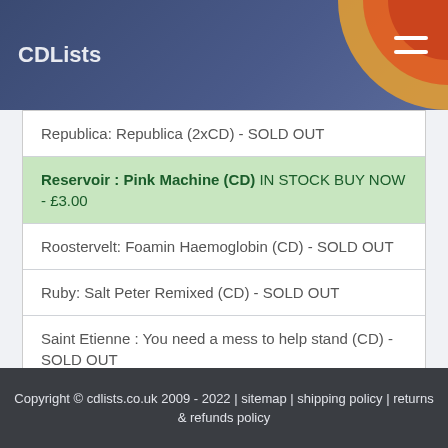CDLists
Republica: Republica (2xCD) - SOLD OUT
Reservoir : Pink Machine (CD) IN STOCK BUY NOW - £3.00
Roostervelt: Foamin Haemoglobin (CD) - SOLD OUT
Ruby: Salt Peter Remixed (CD) - SOLD OUT
Saint Etienne : You need a mess to help stand (CD) - SOLD OUT
Copyright © cdlists.co.uk 2009 - 2022 | sitemap | shipping policy | returns & refunds policy